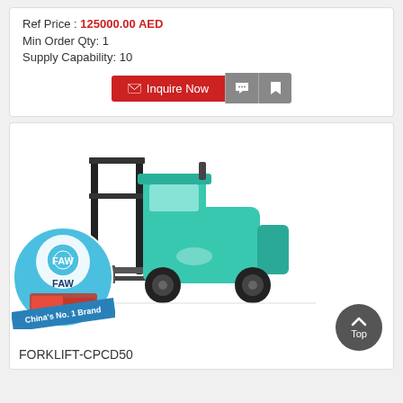Ref Price : 125000.00 AED
Min Order Qty: 1
Supply Capability: 10
[Figure (other): Inquire Now button with chat and save icons]
[Figure (photo): Teal/green forklift (FORKLIFT-CPCD50) with FAW China's No. 1 Brand badge overlay]
FORKLIFT-CPCD50